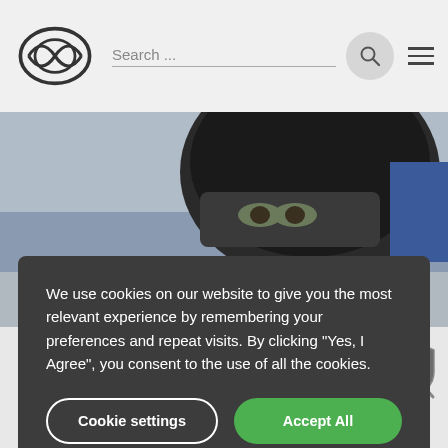Lexus — Search
[Figure (photo): Racing driver in helmet and racing suit, close-up photo used as hero background image]
We use cookies on our website to give you the most relevant experience by remembering your preferences and repeat visits. By clicking "Yes, I Agree", you consent to the use of all the cookies.
Cookie settings
Accept All
After making a name for himself as a karting champ, Hawksworth moved into open-wheel racing, securing an impressive third place overall in his debut year.